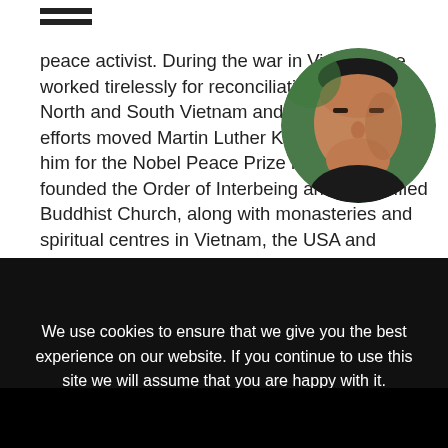[Figure (photo): Circular cropped portrait photo of an elderly Asian man against a green background, wearing a dark top]
peace activist. During the war in Vietnam, he worked tirelessly for reconciliation between North and South Vietnam and his courageous efforts moved Martin Luther King to nominate him for the Nobel Peace Prize in 1967. He founded the Order of Interbeing and the Unified Buddhist Church, along with monasteries and spiritual centres in Vietnam, the USA and France. He lives in Plum Village, his meditation centre in France, and travels widely, leading retreats on the art of
We use cookies to ensure that we give you the best experience on our website. If you continue to use this site we will assume that you are happy with it.